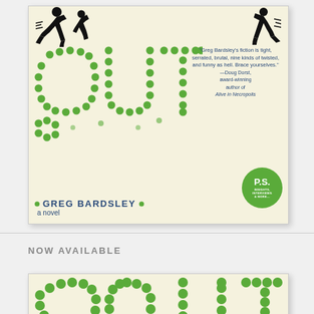[Figure (illustration): Book cover for 'OUT' by Greg Bardsley. Cream/beige textured background. Two black silhouette figures running at top. The word 'OUT' spelled in large green dot/circle patterns in center-left. Blue pull quote on right: "Greg Bardsley's fiction is tight, serrated, brutal, nine kinds of twisted, and funny as hell. Brace yourselves." —Doug Dorst, award-winning author of Alive in Necropolis. Green circular P.S. badge bottom right. Author name GREG BARDSLEY and 'a novel' at bottom.]
NOW AVAILABLE
[Figure (illustration): Partial view of another book cover with same green dot lettering style on cream background, cropped at bottom of page.]